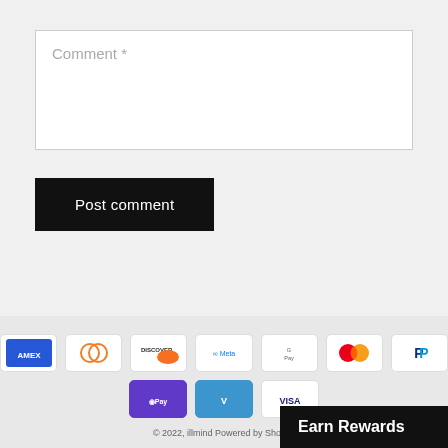Comment *
Post comment
[Figure (other): Payment method icons: American Express, Diners Club, Discover, Meta Pay, Google Pay, Mastercard, PayPal, Apple Pay, Venmo, Visa]
© 2022, illmind Powered by Shopify
Earn Rewards